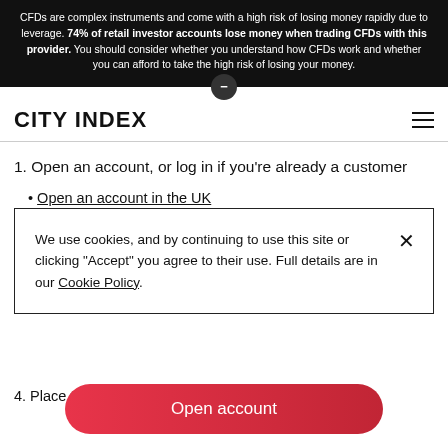CFDs are complex instruments and come with a high risk of losing money rapidly due to leverage. 74% of retail investor accounts lose money when trading CFDs with this provider. You should consider whether you understand how CFDs work and whether you can afford to take the high risk of losing your money.
CITY INDEX
1. Open an account, or log in if you're already a customer
Open an account in the UK
Open an account in Australia
We use cookies, and by continuing to use this site or clicking "Accept" you agree to their use. Full details are in our Cookie Policy.
4. Place the trade
Open account